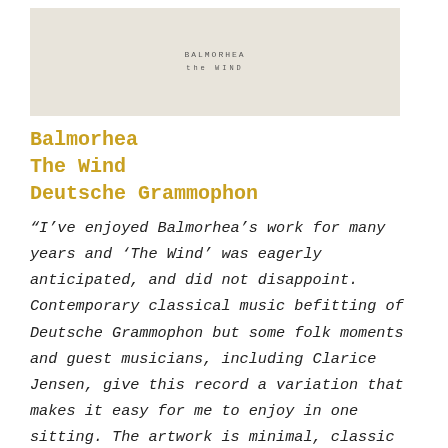[Figure (illustration): Album cover for Balmorhea - The Wind. A light beige/cream background with small centered text reading BALMORHEA and THE WIND in spaced capital letters.]
Balmorhea
The Wind
Deutsche Grammophon
“I’ve enjoyed Balmorhea’s work for many years and ‘The Wind’ was eagerly anticipated, and did not disappoint. Contemporary classical music befitting of Deutsche Grammophon but some folk moments and guest musicians, including Clarice Jensen, give this record a variation that makes it easy for me to enjoy in one sitting. The artwork is minimal, classic and striking and a loose theme around the